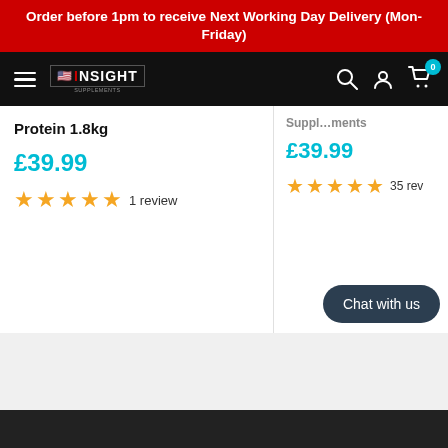Order before 1pm to receive Next Working Day Delivery (Mon-Friday)
[Figure (logo): Insight Supplements logo on black navigation bar with hamburger menu, search, account, and cart icons]
Protein 1.8kg
£39.99
★★★★★ 1 review
£39.99
★★★★★ 35 reviews
Chat with us